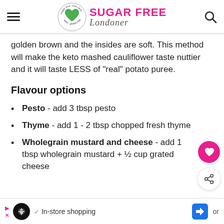SUGAR FREE Londoner
golden brown and the insides are soft. This method will make the keto mashed cauliflower taste nuttier and it will taste LESS of "real" potato puree.
Flavour options
Pesto - add 3 tbsp pesto
Thyme - add 1 - 2 tbsp chopped fresh thyme
Wholegrain mustard and cheese - add 1 tbsp wholegrain mustard + ½ cup grated cheese